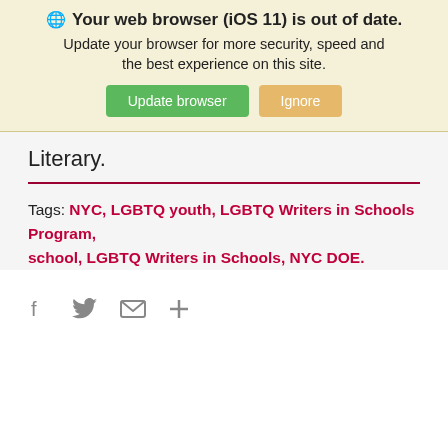[Figure (screenshot): Browser update warning banner with globe icon, bold title 'Your web browser (iOS 11) is out of date.', subtitle text, and two buttons: green 'Update browser' and gold 'Ignore']
Literary.
Tags:  NYC,  LGBTQ youth,  LGBTQ Writers in Schools Program,  school,  LGBTQ Writers in Schools,  NYC DOE.
[Figure (other): Social sharing icons: Facebook (f), Twitter (bird), Email (envelope), More (+)]